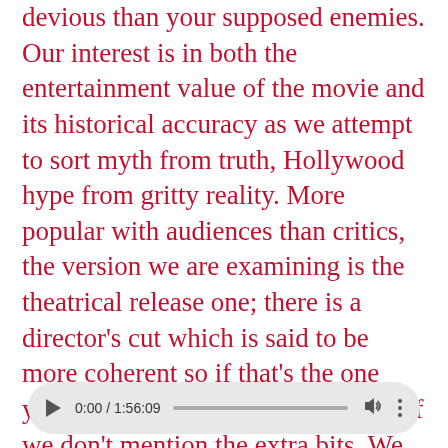devious than your supposed enemies. Our interest is in both the entertainment value of the movie and its historical accuracy as we attempt to sort myth from truth, Hollywood hype from gritty reality. More popular with audiences than critics, the version we are examining is the theatrical release one; there is a director’s cut which is said to be more coherent so if that’s the one you’ve seen, good choice and sorry if we don’t mention the extra bits. We hope you enjoy.
[Figure (other): Audio player UI showing playback controls: play button, time display '0:00 / 1:56:09', progress bar, volume icon, and more options icon]